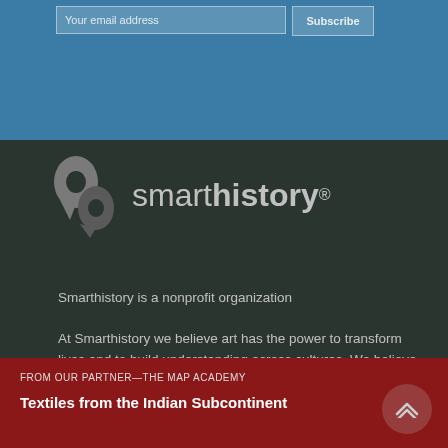[Figure (screenshot): Email subscription form with 'Your email address' input box and 'Subscribe' button on blue background]
[Figure (logo): Smarthistory logo with quotation mark icon and text 'smarthistory' with registered trademark symbol on dark background]
Smarthistory is a nonprofit organization
At Smarthistory we believe art has the power to transform lives and to build understanding across cultures. We believe that the brilliant histories of art belong to everyone, no matter their background
FROM OUR PARTNER—THE MAP ACADEMY
Textiles from the Indian Subcontinent